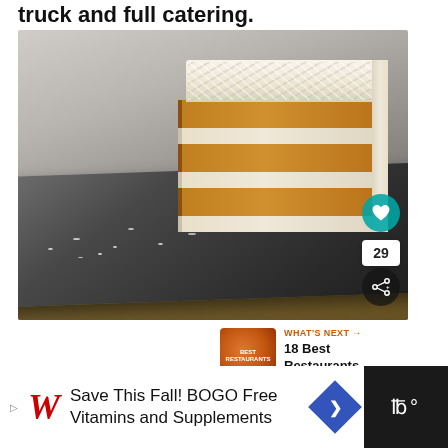truck and full catering.
[Figure (photo): A slice of layered coconut cake with white frosting and shredded coconut on top, placed on a dark slate board. Social interaction buttons (heart, count 29, share) visible on the right side of the image.]
WHAT'S NEXT → 18 Best Restaurants ...
[Figure (photo): Thumbnail image of a restaurant listing article, showing an orange circular badge.]
Save This Fall! BOGO Free Vitamins and Supplements